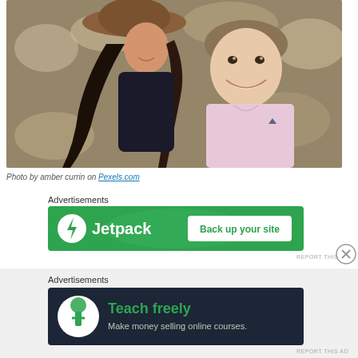[Figure (photo): A woman wearing a brown hat leans close to a young smiling boy in a pink polo shirt, both looking happy outdoors with a blurred rocky background.]
Photo by amber currin on Pexels.com
Advertisements
[Figure (other): Jetpack advertisement banner on green background with lightning bolt logo and text 'Jetpack' and button 'Back up your site']
REPORT THIS AD
Advertisements
[Figure (other): Teachable advertisement banner on dark background with tree/person logo and text 'Teach freely' and subtext 'Make money selling online courses.']
REPORT THIS AD